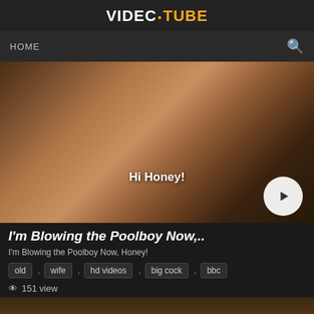VIDEO•TUBE
HOME
[Figure (screenshot): Video thumbnail showing a woman in a dark top in an indoor setting. Text overlay reads 'Hi Honey!' with a play button in the bottom right corner.]
I'm Blowing the Poolboy Now,..
I'm Blowing the Poolboy Now, Honey!
old , wife , hd videos , big cock , bbc
151 view
[Figure (screenshot): Partial video thumbnail showing a dark indoor dining scene with a duration badge showing 19:02.]